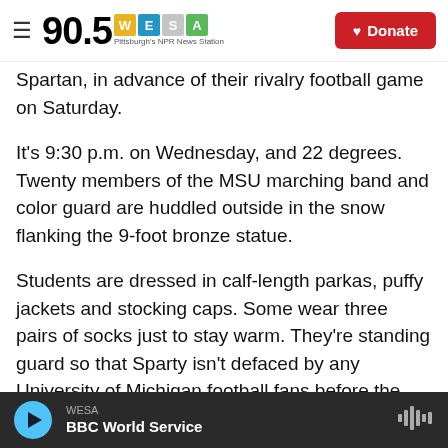90.5 WESA — Pittsburgh's NPR News Station | Donate
Spartan, in advance of their rivalry football game on Saturday.
It's 9:30 p.m. on Wednesday, and 22 degrees. Twenty members of the MSU marching band and color guard are huddled outside in the snow flanking the 9-foot bronze statue.
Students are dressed in calf-length parkas, puffy jackets and stocking caps. Some wear three pairs of socks just to stay warm. They're standing guard so that Sparty isn't defaced by any University of Michigan football fans before the Wolverines and Spartans face off for the 112th time this Saturday.
WESA | BBC World Service